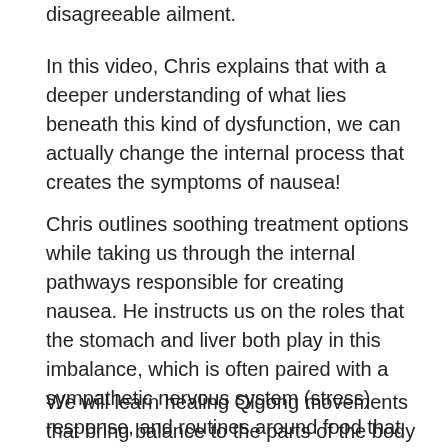disagreeable ailment.
In this video, Chris explains that with a deeper understanding of what lies beneath this kind of dysfunction, we can actually change the internal process that creates the symptoms of nausea!
Chris outlines soothing treatment options while taking us through the internal pathways responsible for creating nausea. He instructs us on the roles that the stomach and liver both play in this imbalance, which is often paired with a sympathetic nervous system (stress) response, and routines around food that can disrupt proper digestion.
We will learn healing Qigong movements that bring balance to the parts of the body in flux when nausea is present. These exercises not only align the internal organs of the